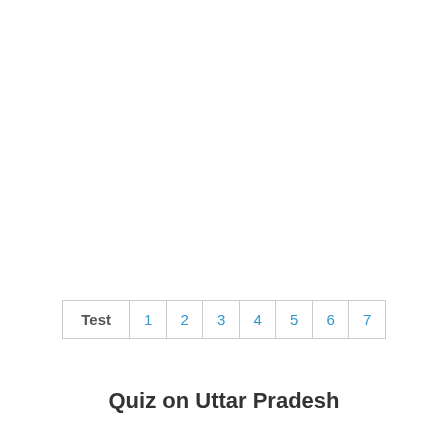| Test | 1 | 2 | 3 | 4 | 5 | 6 | 7 |
| --- | --- | --- | --- | --- | --- | --- | --- |
Quiz on Uttar Pradesh